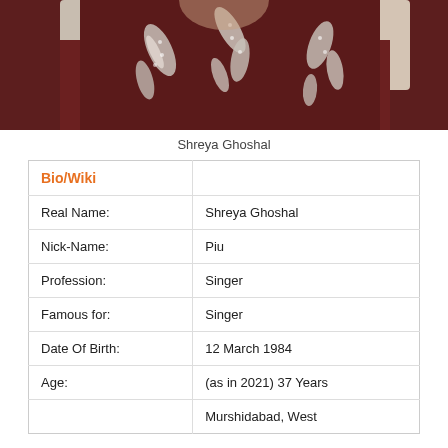[Figure (photo): Photo of Shreya Ghoshal wearing a dark maroon embroidered dress with floral/leaf bead embellishments]
Shreya Ghoshal
| Bio/Wiki |  |
| --- | --- |
| Real Name: | Shreya Ghoshal |
| Nick-Name: | Piu |
| Profession: | Singer |
| Famous for: | Singer |
| Date Of Birth: | 12 March 1984 |
| Age: | (as in 2021) 37 Years |
|  | Murshidabad, West |